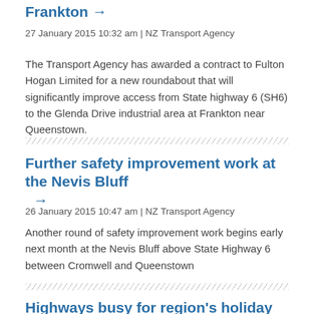Frankton →
27 January 2015 10:32 am | NZ Transport Agency
The Transport Agency has awarded a contract to Fulton Hogan Limited for a new roundabout that will significantly improve access from State highway 6 (SH6) to the Glenda Drive industrial area at Frankton near Queenstown.
Further safety improvement work at the Nevis Bluff →
26 January 2015 10:47 am | NZ Transport Agency
Another round of safety improvement work begins early next month at the Nevis Bluff above State Highway 6 between Cromwell and Queenstown
Highways busy for region's holiday weekend →